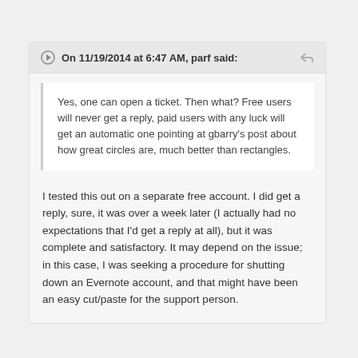On 11/19/2014 at 6:47 AM, parf said:
Yes, one can open a ticket. Then what? Free users will never get a reply, paid users with any luck will get an automatic one pointing at gbarry's post about how great circles are, much better than rectangles.
I tested this out on a separate free account. I did get a reply, sure, it was over a week later (I actually had no expectations that I'd get a reply at all), but it was complete and satisfactory. It may depend on the issue; in this case, I was seeking a procedure for shutting down an Evernote account, and that might have been an easy cut/paste for the support person.